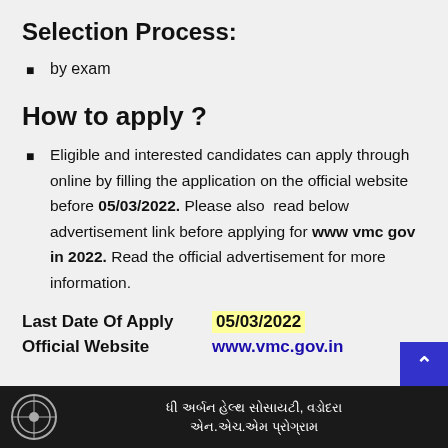Selection Process:
by exam
How to apply ?
Eligible and interested candidates can apply through online by filling the application on the official website before 05/03/2022. Please also read below advertisement link before applying for www vmc gov in 2022. Read the official advertisement for more information.
| Field | Value |
| --- | --- |
| Last Date Of Apply | 05/03/2022 |
| Official Website | www.vmc.gov.in |
[Figure (other): Bottom banner with logo and Gujarati text: The Urban Health Society, Vadodara - NUHM Program]